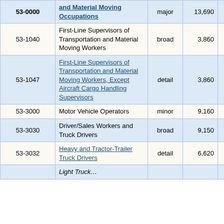| Code | Occupation | Level | Employment | Pct |
| --- | --- | --- | --- | --- |
| 53-0000 | and Material Moving Occupations | major | 13,690 | 0.0% |
| 53-1040 | First-Line Supervisors of Transportation and Material Moving Workers | broad | 3,860 | 0.0% |
| 53-1047 | First-Line Supervisors of Transportation and Material Moving Workers, Except Aircraft Cargo Handling Supervisors | detail | 3,860 | 0.0% |
| 53-3000 | Motor Vehicle Operators | minor | 9,160 | 0.0% |
| 53-3030 | Driver/Sales Workers and Truck Drivers | broad | 9,150 | 0.0% |
| 53-3032 | Heavy and Tractor-Trailer Truck Drivers | detail | 6,620 | 0.0% |
|  | Light Truck… |  |  |  |